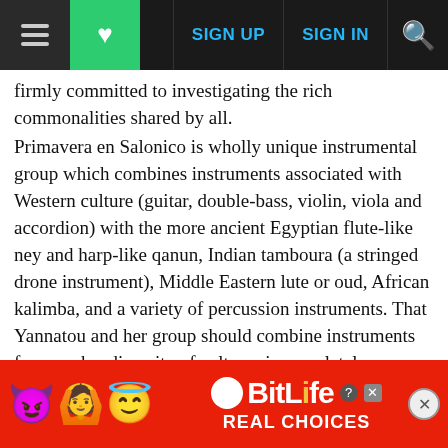Navigation bar with hamburger menu, heart/save button, SIGN UP, SIGN IN, and search icon
firmly committed to investigating the rich commonalities shared by all.
Primavera en Salonico is wholly unique instrumental group which combines instruments associated with Western culture (guitar, double-bass, violin, viola and accordion) with the more ancient Egyptian flute-like ney and harp-like qanun, Indian tamboura (a stringed drone instrument), Middle Eastern lute or oud, African kalimba, and a variety of percussion instruments. That Yannatou and her group should combine instruments from such a diversity of cultures is completely consistent with their belief that music truly exists without borders. As for Yannatou herself, she posses... deman... moto...
[Figure (screenshot): BitLife advertisement banner at the bottom of the page with emoji characters (purple devil, woman with hands up, winking face with halo), BitLife logo with question mark and X close buttons, and tagline REAL CHOICES on red background]